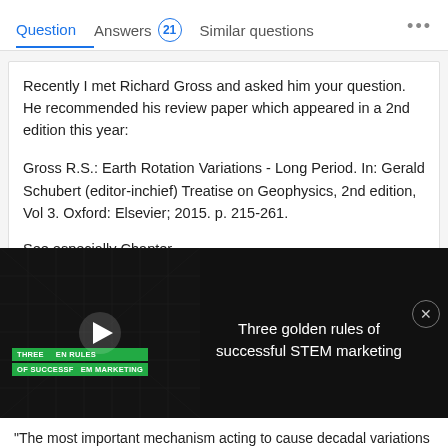Question   Answers 21   Similar questions   ...
Recently I met Richard Gross and asked him your question. He recommended his review paper which appeared in a 2nd edition this year:
Gross R.S.: Earth Rotation Variations - Long Period. In: Gerald Schubert (editor-inchief) Treatise on Geophysics, 2nd edition, Vol 3. Oxford: Elsevier; 2015. p. 215-261.
See especially Chapter
[Figure (screenshot): Video overlay with title 'Three golden rules of successful STEM marketing' and a play button on a dark background.]
"The most important mechanism acting to cause decadal variations in LOD is core-mantle coupling. While it has been recognized for quite some time that the core is the only viable source of the large decadal LOD variations that are observed ..., it was not until 1988 that Jault et al. (1988) were able to model the core angular momentum (CAM) and show that it causes